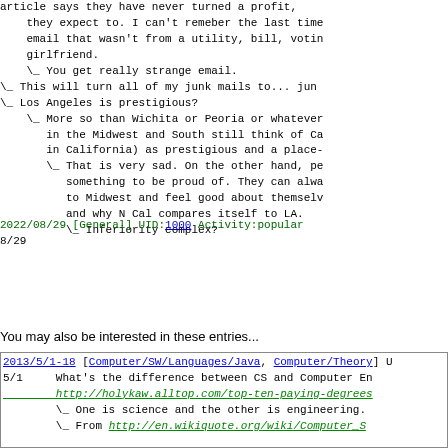article says they have never turned a profit,
    they expect to. I can't remeber the last time
    email that wasn't from a utility, bill, votin
    girlfriend.
    \_ You get really strange email.
\_ This will turn all of my junk mails to... jun
\_ Los Angeles is prestigious?
    \_ More so than Wichita or Peoria or whatever
       in the Midwest and South still think of Ca
       in California) as prestigious and a place-
       \_ That is very sad. On the other hand, pe
          something to be proud of. They can alwa
          to Midwest and feel good about themselv
          and why N Cal compares itself to LA.
          \_ Inferiority complex?
2022/08/29 [General] UID:1000 Activity:popular
8/29
You may also be interested in these entries...
2013/5/1-18 [Computer/SW/Languages/Java, Computer/Theory] U
5/1     What's the difference between CS and Computer En
        http://holykaw.alltop.com/top-ten-paying-degrees
        \_ One is science and the other is engineering.
        \_ From http://en.wikiquote.org/wiki/Computer_S